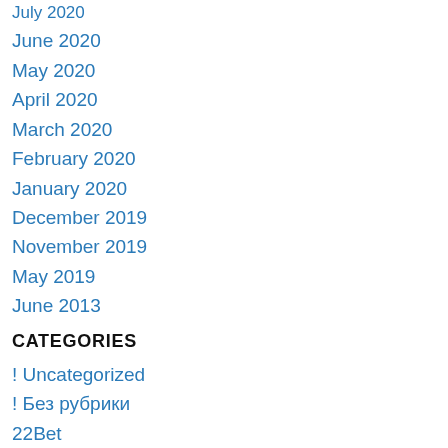July 2020
June 2020
May 2020
April 2020
March 2020
February 2020
January 2020
December 2019
November 2019
May 2019
June 2013
CATEGORIES
! Uncategorized
! Без рубрики
22Bet
888 Casino
adult chats
adult dating